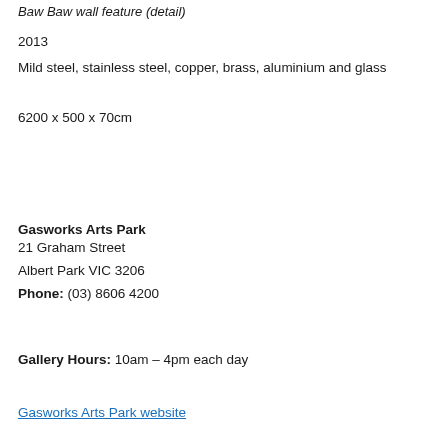Baw Baw wall feature (detail)
2013
Mild steel, stainless steel, copper, brass, aluminium and glass
6200 x 500 x 70cm
Gasworks Arts Park
21 Graham Street
Albert Park VIC 3206
Phone: (03) 8606 4200
Gallery Hours: 10am – 4pm each day
Gasworks Arts Park website